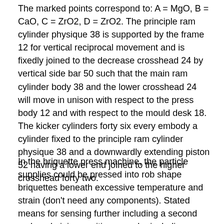The marked points correspond to: A = MgO, B = CaO, C = ZrO2, D = ZrO2. The principle ram cylinder physique 38 is supported by the frame 12 for vertical reciprocal movement and is fixedly joined to the decrease crosshead 24 by vertical side bar 50 such that the main ram cylinder body 38 and the lower crosshead 24 will move in unison with respect to the press body 12 and with respect to the mould desk 18. The kicker cylinders forty six every embody a cylinder fixed to the principle ram cylinder physique 38 and a downwardly extending piston 52 having a lower end joined to the higher crosshead forty two.
In the briquette press machine, the particle supplies could be pressed into rob shape briquettes beneath excessive temperature and strain (don’t need any components). Stated means for sensing further including a second rack and pinion position encoder including a pinion, a rack, and means for producing an electrical sign in response to relative movement of said second rack and pinion, one in event of